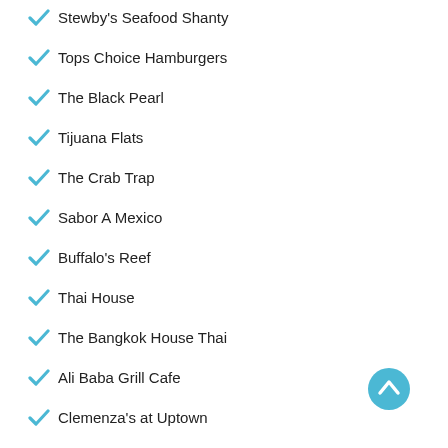Stewby's Seafood Shanty
Tops Choice Hamburgers
The Black Pearl
Tijuana Flats
The Crab Trap
Sabor A Mexico
Buffalo's Reef
Thai House
The Bangkok House Thai
Ali Baba Grill Cafe
Clemenza's at Uptown
Angler's Beachside Grill
Fusion Bistro
Sonny's BBQ
Okinawa Japanese Restaurant